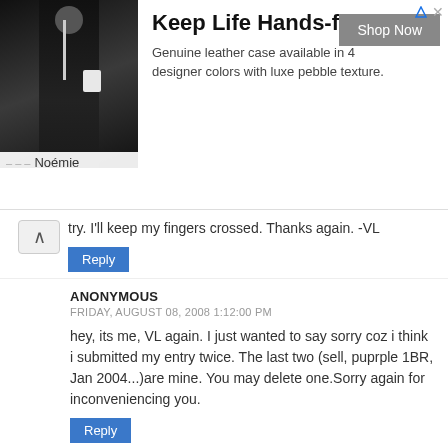[Figure (infographic): Advertisement banner for Noémie brand – Keep Life Hands-free. Shows a person in dark clothing with a bag, Shop Now button, and ad description text.]
try. I'll keep my fingers crossed. Thanks again. -VL
Reply
ANONYMOUS
FRIDAY, AUGUST 08, 2008 1:12:00 PM
hey, its me, VL again. I just wanted to say sorry coz i think i submitted my entry twice. The last two (sell, puprple 1BR, Jan 2004...)are mine. You may delete one.Sorry again for inconveniencing you.
Reply
SHRINIDHI HANDE
FRIDAY, AUGUST 08, 2008 8:35:00 PM
@VL
That's fine. I've deleted repeated rows...